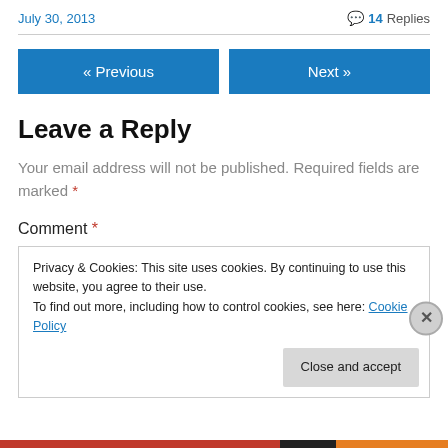July 30, 2013
💬 14 Replies
« Previous
Next »
Leave a Reply
Your email address will not be published. Required fields are marked *
Comment *
Privacy & Cookies: This site uses cookies. By continuing to use this website, you agree to their use.
To find out more, including how to control cookies, see here: Cookie Policy
Close and accept